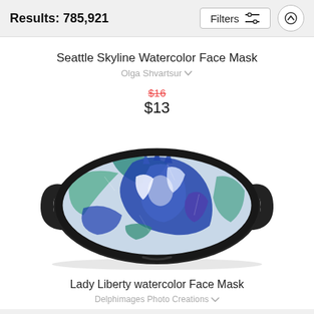Results: 785,921
Filters
Seattle Skyline Watercolor Face Mask
Olga Shvartsur
$16 (strikethrough) $13
[Figure (photo): A face mask with Statue of Liberty watercolor art print in blue, green, and white tones, with black elastic straps on both sides.]
Lady Liberty watercolor Face Mask
Delphimages Photo Creations